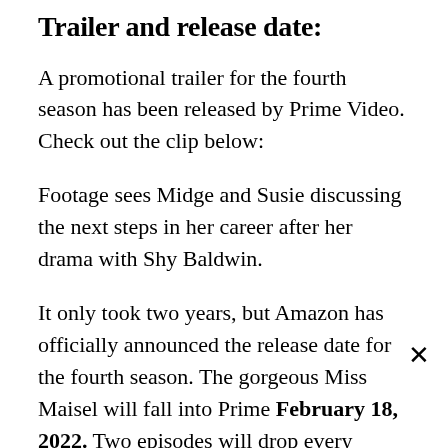Trailer and release date:
A promotional trailer for the fourth season has been released by Prime Video. Check out the clip below:
Footage sees Midge and Susie discussing the next steps in her career after her drama with Shy Baldwin.
It only took two years, but Amazon has officially announced the release date for the fourth season. The gorgeous Miss Maisel will fall into Prime February 18, 2022. Two episodes will drop every Friday for five weeks, with a total of eight...